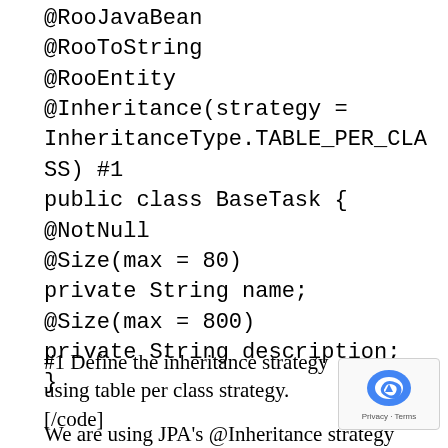@RooJavaBean
@RooToString
@RooEntity
@Inheritance(strategy = InheritanceType.TABLE_PER_CLASS) #1
public class BaseTask {
@NotNull
@Size(max = 80)
private String name;
@Size(max = 800)
private String description;
}
#1 Define the inheritance strategy using table per class strategy.[/code]
We are using JPA's @Inheritance strategy